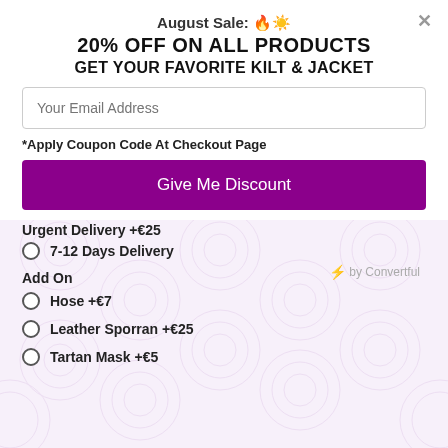August Sale: 🔥☀️
20% OFF ON ALL PRODUCTS
GET YOUR FAVORITE KILT & JACKET
Your Email Address
*Apply Coupon Code At Checkout Page
Give Me Discount
Urgent Delivery +€25
7-12 Days Delivery
Add On
Hose +€7
Leather Sporran +€25
Tartan Mask +€5
⚡ by Convertful